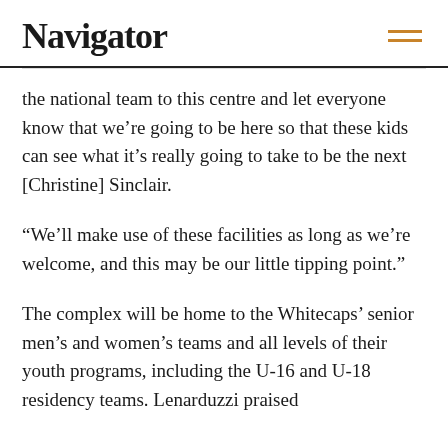Navigator
the national team to this centre and let everyone know that we’re going to be here so that these kids can see what it’s really going to take to be the next [Christine] Sinclair.
“We’ll make use of these facilities as long as we’re welcome, and this may be our little tipping point.”
The complex will be home to the Whitecaps’ senior men’s and women’s teams and all levels of their youth programs, including the U-16 and U-18 residency teams. Lenarduzzi praised